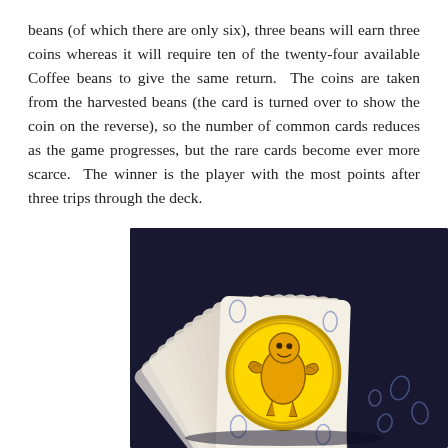beans (of which there are only six), three beans will earn three coins whereas it will require ten of the twenty-four available Coffee beans to give the same return.  The coins are taken from the harvested beans (the card is turned over to show the coin on the reverse), so the number of common cards reduces as the game progresses, but the rare cards become ever more scarce.  The winner is the player with the most points after three trips through the deck.
[Figure (photo): A fanned deck of Bohnanza trading card game cards on a dark navy background. The top card shows a yellow coin with an illustrated bean character on it. The backs of the other cards show blue illustrated bean characters on a cream/white background.]